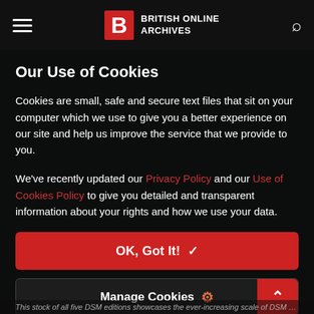BRITISH ONLINE ARCHIVES
Our Use of Cookies
Cookies are small, safe and secure text files that sit on your computer which we use to give you a better experience on our site and help us improve the service that we provide to you.
We've recently updated our Privacy Policy and our Use of Cookies Policy to give you detailed and transparent information about your rights and how we use your data.
OK, Got It! ✓
Manage Cookies ⚙
This stock of all five DSM editions showcases the ever-increasing scale of DSM editions being published. The